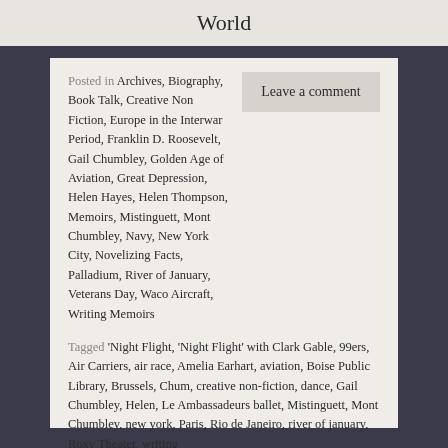World
Posted in Archives, Biography, Book Talk, Creative Non Fiction, Europe in the Interwar Period, Franklin D. Roosevelt, Gail Chumbley, Golden Age of Aviation, Great Depression, Helen Hayes, Helen Thompson, Memoirs, Mistinguett, Mont Chumbley, Navy, New York City, Novelizing Facts, Palladium, River of January, Veterans Day, Waco Aircraft, Writing Memoirs
Leave a comment
Tagged 'Night Flight, 'Night Flight' with Clark Gable, 99ers, Air Carriers, air race, Amelia Earhart, aviation, Boise Public Library, Brussels, Chum, creative non-fiction, dance, Gail Chumbley, Helen, Le Ambassadeurs ballet, Mistinguett, Mont Chumbley, new york, Paris, Rio de Janeiro, river of january, Roxy Theater, writing